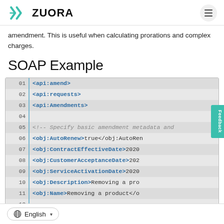Zuora logo and navigation
amendment. This is useful when calculating prorations and complex charges.
SOAP Example
[Figure (screenshot): XML SOAP code block showing api:amend, api:requests, api:Amendments tags and object fields including AutoRenew, ContractEffectiveDate, CustomerAcceptanceDate, ServiceActivationDate, Description, Name with line numbers 01-13]
English language selector